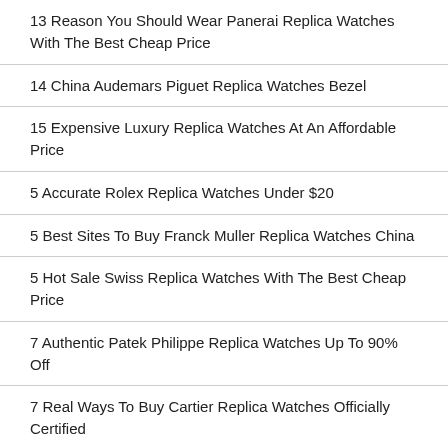13 Reason You Should Wear Panerai Replica Watches With The Best Cheap Price
14 China Audemars Piguet Replica Watches Bezel
15 Expensive Luxury Replica Watches At An Affordable Price
5 Accurate Rolex Replica Watches Under $20
5 Best Sites To Buy Franck Muller Replica Watches China
5 Hot Sale Swiss Replica Watches With The Best Cheap Price
7 Authentic Patek Philippe Replica Watches Up To 90% Off
7 Real Ways To Buy Cartier Replica Watches Officially Certified